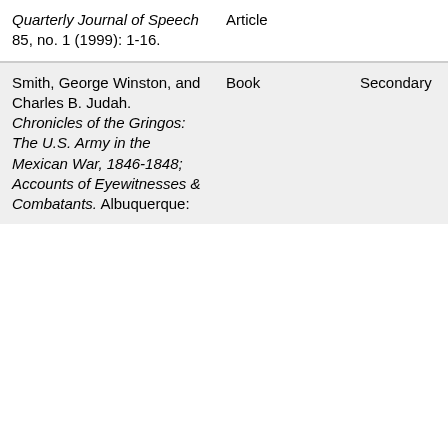| Source | Type | Category | Year |
| --- | --- | --- | --- |
| Quarterly Journal of Speech 85, no. 1 (1999): 1-16. | Article |  |  |
| Smith, George Winston, and Charles B. Judah. Chronicles of the Gringos: The U.S. Army in the Mexican War, 1846-1848; Accounts of Eyewitnesses & Combatants. Albuquerque: | Book | Secondary | 1968 |